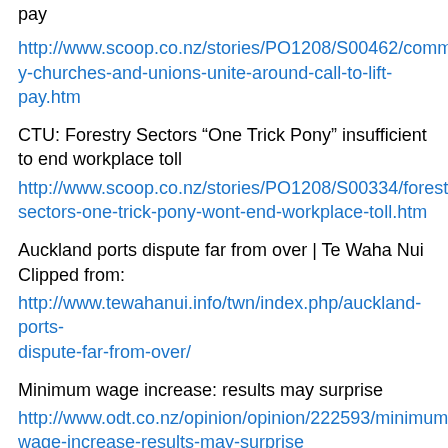pay
http://www.scoop.co.nz/stories/PO1208/S00462/community-churches-and-unions-unite-around-call-to-lift-pay.htm
CTU: Forestry Sectors “One Trick Pony” insufficient to end workplace toll
http://www.scoop.co.nz/stories/PO1208/S00334/forestry-sectors-one-trick-pony-wont-end-workplace-toll.htm
Auckland ports dispute far from over | Te Waha Nui
Clipped from:
http://www.tewahanui.info/twn/index.php/auckland-ports-dispute-far-from-over/
Minimum wage increase: results may surprise
http://www.odt.co.nz/opinion/opinion/222593/minimum-wage-increase-results-may-surprise
Forestry Sectors “One Trick Pony” insufficient to end